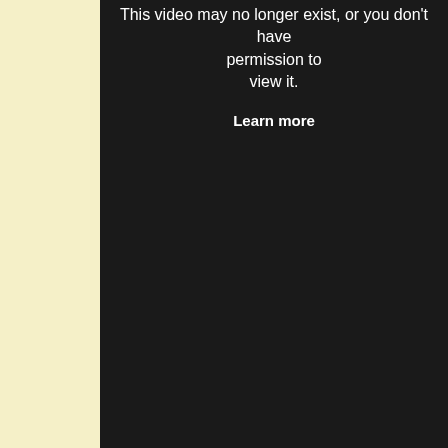[Figure (screenshot): A dark (near-black) video embed placeholder with white text reading 'This video may no longer exist, or you don't have permission to view it.' and a 'Learn more' bold link below.]
Independent candidate Lori Saldaña released a statement calling action, following an incident at Padres game where the San Die left standing on the field as the public address system played an national anthem.
Now would be a good time for Kevin Faulconer to demons vaunted support of Marriage Equality and a San Diego All
The San Diego Municipal Code gives the Human Relations members are appointed by the Mayor… jurisdiction to inv